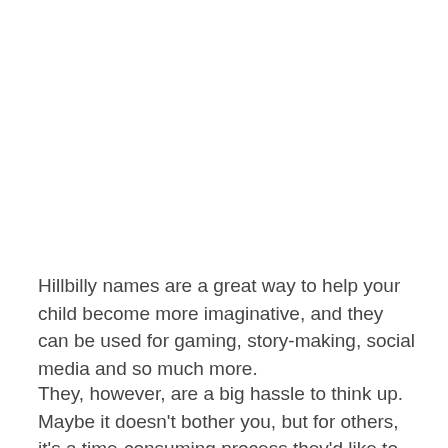Hillbilly names are a great way to help your child become more imaginative, and they can be used for gaming, story-making, social media and so much more.
They, however, are a big hassle to think up. Maybe it doesn't bother you, but for others, it's a time-consuming process they'd like to skip.